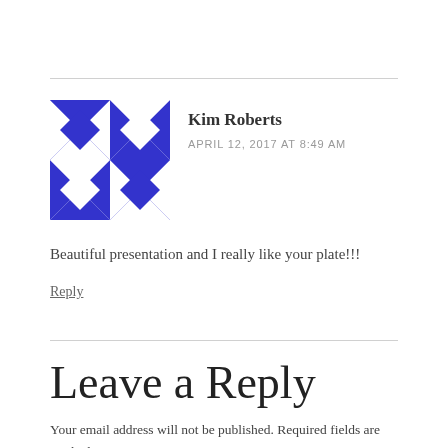[Figure (illustration): Blue and white geometric quilt-pattern avatar for Kim Roberts]
Kim Roberts
APRIL 12, 2017 AT 8:49 AM
Beautiful presentation and I really like your plate!!!
Reply
Leave a Reply
Your email address will not be published. Required fields are marked *